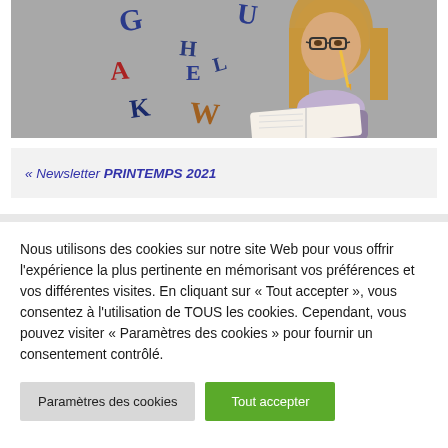[Figure (photo): Photo of a young girl with glasses holding a pencil and reading a book, with colorful floating letters (G, H, U, A, E, L, K, W) around her against a chalkboard background.]
« Newsletter PRINTEMPS 2021
Nous utilisons des cookies sur notre site Web pour vous offrir l'expérience la plus pertinente en mémorisant vos préférences et vos différentes visites. En cliquant sur « Tout accepter », vous consentez à l'utilisation de TOUS les cookies. Cependant, vous pouvez visiter « Paramètres des cookies » pour fournir un consentement contrôlé.
Paramètres des cookies
Tout accepter